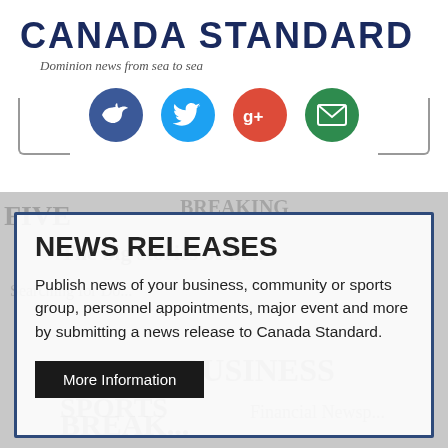CANADA STANDARD
Dominion news from sea to sea
[Figure (infographic): Social media sharing icons: Facebook, Twitter, Google+, and Email, arranged horizontally with bracket lines underneath]
[Figure (infographic): News releases promotional card with newspaper collage background showing text: NEWS RELEASES — Publish news of your business, community or sports group, personnel appointments, major event and more by submitting a news release to Canada Standard. More Information button.]
NEWS RELEASES
Publish news of your business, community or sports group, personnel appointments, major event and more by submitting a news release to Canada Standard.
More Information